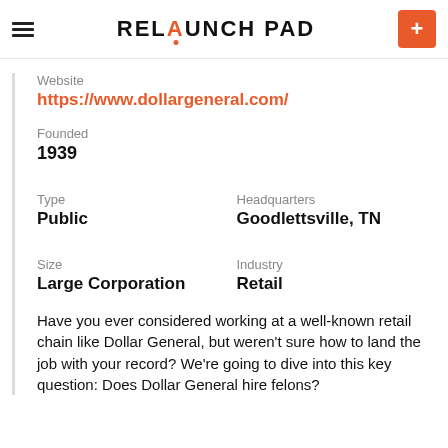RELAUNCHPAD
Website
https://www.dollargeneral.com/
Founded
1939
Type
Public
Headquarters
Goodlettsville, TN
Size
Large Corporation
Industry
Retail
Have you ever considered working at a well-known retail chain like Dollar General, but weren't sure how to land the job with your record? We're going to dive into this key question: Does Dollar General hire felons?